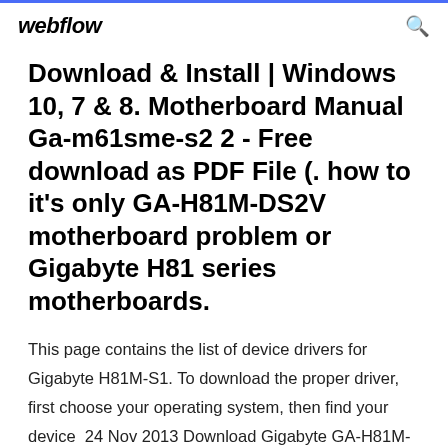webflow
Download & Install | Windows 10, 7 & 8. Motherboard Manual Ga-m61sme-s2 2 - Free download as PDF File (. how to it's only GA-H81M-DS2V motherboard problem or Gigabyte H81 series motherboards.
This page contains the list of device drivers for Gigabyte H81M-S1. To download the proper driver, first choose your operating system, then find your device  24 Nov 2013 Download Gigabyte GA-H81M-S1 (rev. 2.0) Intel Chipset Driver 9.4.0.1027 (Motherboard) Description.